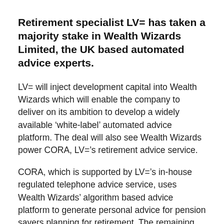Retirement specialist LV= has taken a majority stake in Wealth Wizards Limited, the UK based automated advice experts.
LV= will inject development capital into Wealth Wizards which will enable the company to deliver on its ambition to develop a widely available ‘white-label’ automated advice platform. The deal will also see Wealth Wizards power CORA, LV=’s retirement advice service.
CORA, which is supported by LV=’s in-house regulated telephone advice service, uses Wealth Wizards’ algorithm based advice platform to generate personal advice for pension savers planning for retirement. The remaining shares are owned by